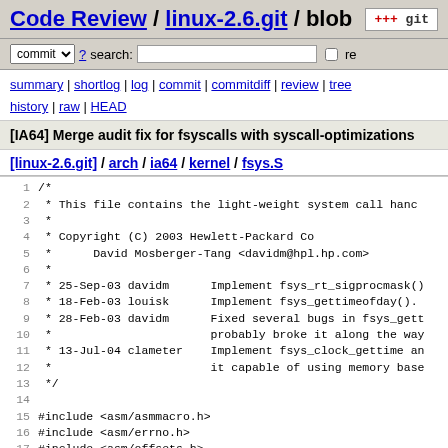Code Review / linux-2.6.git / blob
commit ? search: re
summary | shortlog | log | commit | commitdiff | review | tree history | raw | HEAD
[IA64] Merge audit fix for fsyscalls with syscall-optimizations
[linux-2.6.git] / arch / ia64 / kernel / fsys.S
[Figure (screenshot): Source code listing of fsys.S with line numbers 1-19 showing a C comment block with copyright, author, and change history, followed by #include directives]